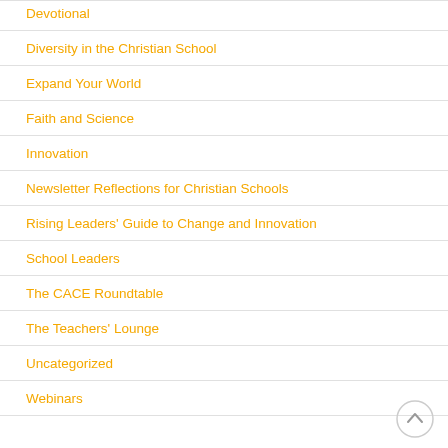Devotional
Diversity in the Christian School
Expand Your World
Faith and Science
Innovation
Newsletter Reflections for Christian Schools
Rising Leaders' Guide to Change and Innovation
School Leaders
The CACE Roundtable
The Teachers' Lounge
Uncategorized
Webinars